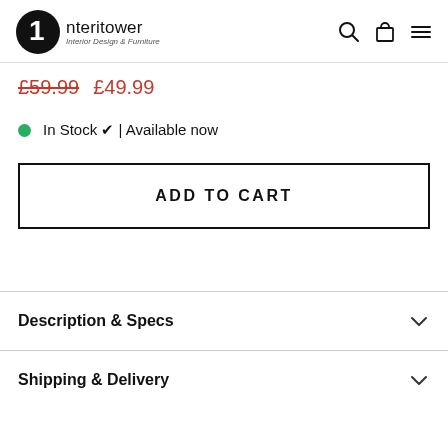Interitower Interior Design & Furniture
£59.99  £49.99
In Stock ✔ | Available now
ADD TO CART
Description & Specs
Shipping & Delivery